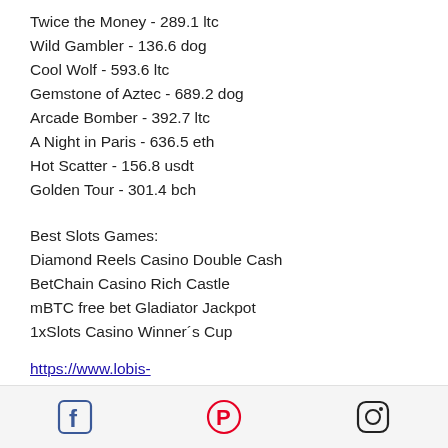Twice the Money - 289.1 ltc
Wild Gambler - 136.6 dog
Cool Wolf - 593.6 ltc
Gemstone of Aztec - 689.2 dog
Arcade Bomber - 392.7 ltc
A Night in Paris - 636.5 eth
Hot Scatter - 156.8 usdt
Golden Tour - 301.4 bch
Best Slots Games:
Diamond Reels Casino Double Cash
BetChain Casino Rich Castle
mBTC free bet Gladiator Jackpot
1xSlots Casino Winner´s Cup
https://www.lobis-hill.com/profile/laurenritter15006016/profile
https://www.tollywoodactingschoolkolkata.co